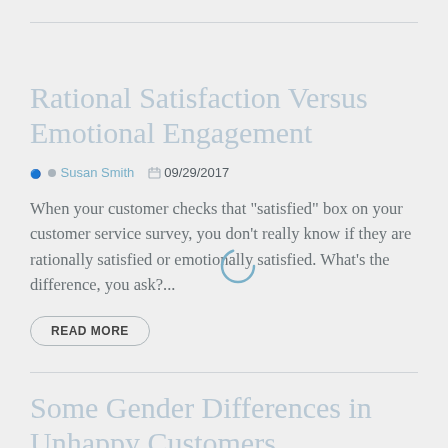Rational Satisfaction Versus Emotional Engagement
Susan Smith   09/29/2017
When your customer checks that "satisfied" box on your customer service survey, you don't really know if they are rationally satisfied or emotionally satisfied. What's the difference, you ask?...
READ MORE
Some Gender Differences in Unhappy Customers